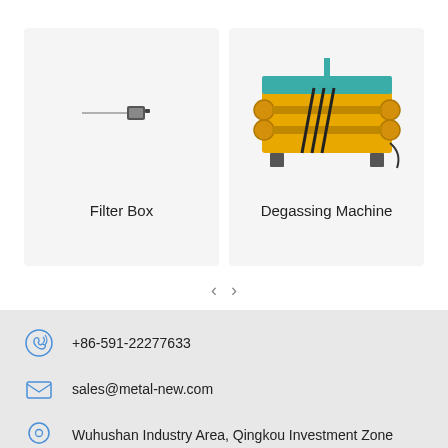[Figure (photo): Product card showing Filter Box - small device image on light gray background]
Filter Box
[Figure (photo): Product card showing Degassing Machine - large yellow industrial machine with teal top on light gray background]
Degassing Machine
< >
+86-591-22277633
sales@metal-new.com
Wuhushan Industry Area, Qingkou Investment Zone